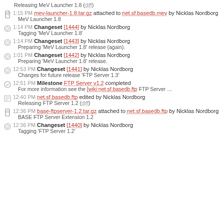Releasing MeV Launcher 1.8 (diff)
1:15 PM mev-launcher-1.8.tar.gz attached to net.sf.basedb.mev by Nicklas Nordborg — MeV Launcher 1.8
1:14 PM Changeset [1444] by Nicklas Nordborg — Tagging 'MeV Launcher 1.8'
1:14 PM Changeset [1443] by Nicklas Nordborg — Preparing 'MeV Launcher 1.8' release (again).
1:01 PM Changeset [1442] by Nicklas Nordborg — Preparing 'MeV Launcher 1.8' release.
12:53 PM Changeset [1441] by Nicklas Nordborg — Changes for future release 'FTP Server 1.3'
12:51 PM Milestone FTP Server v1.2 completed — For more information see the [wiki:net.sf.basedb.ftp FTP Server ...
12:40 PM net.sf.basedb.ftp edited by Nicklas Nordborg — Releasing FTP Server 1.2 (diff)
12:36 PM base-ftpserver-1.2.tar.gz attached to net.sf.basedb.ftp by Nicklas Nordborg — BASE FTP Server Extension 1.2
12:36 PM Changeset [1440] by Nicklas Nordborg — Tagging 'FTP Server 1.2'